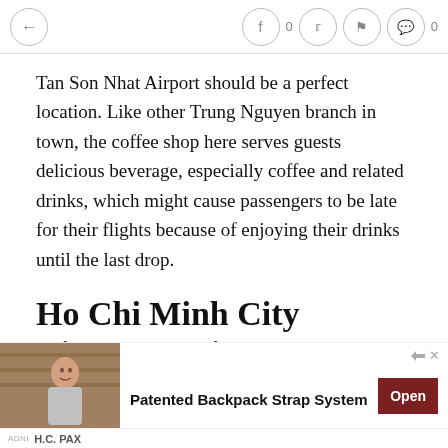← navigation bar with back button, facebook (0), twitter, bookmark, comment (0) icons
Tan Son Nhat Airport should be a perfect location. Like other Trung Nguyen branch in town, the coffee shop here serves guests delicious beverage, especially coffee and related drinks, which might cause passengers to be late for their flights because of enjoying their drinks until the last drop.
Ho Chi Minh City Airport Business Lounge
[Figure (other): Advertisement banner: Patented Backpack Strap System with H.C. PAX branding, image of a woman, and Open button]